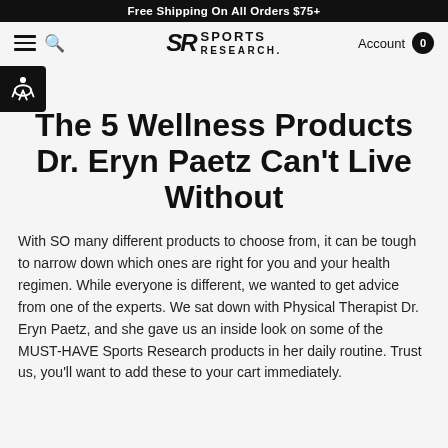Free Shipping On All Orders $75+
[Figure (logo): Sports Research logo with SR monogram and hamburger menu, search icon, Account label, and cart count (0)]
The 5 Wellness Products Dr. Eryn Paetz Can't Live Without
With SO many different products to choose from, it can be tough to narrow down which ones are right for you and your health regimen. While everyone is different, we wanted to get advice from one of the experts. We sat down with Physical Therapist Dr. Eryn Paetz, and she gave us an inside look on some of the MUST-HAVE Sports Research products in her daily routine. Trust us, you'll want to add these to your cart immediately.